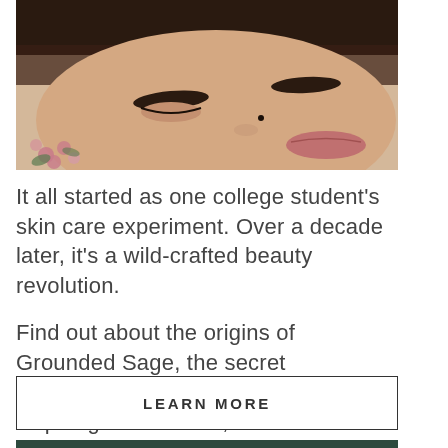[Figure (photo): Close-up photo of a woman's face with closed eyes, dark eyebrows, pink lips, and small pink flowers near her head. Soft natural lighting on skin-tone background.]
It all started as one college student's skin care experiment. Over a decade later, it's a wild-crafted beauty revolution.
Find out about the origins of Grounded Sage, the secret laboratory, and our commitment to inspiring self-esteem, confidence & kindness, for all.
LEARN MORE
[Figure (other): Dark green bar/section at the bottom of the page.]